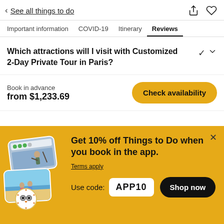< See all things to do
Important information  COVID-19  Itinerary  Reviews
Which attractions will I visit with Customized 2-Day Private Tour in Paris?
Book in advance
from $1,233.69
Check availability
Get 10% off Things to Do when you book in the app.
Terms apply
Use code: APP10
Shop now